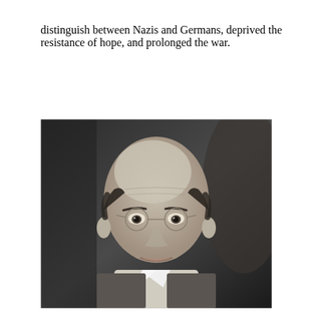distinguish between Nazis and Germans, deprived the resistance of hope, and prolonged the war.
[Figure (photo): Black and white portrait photograph of a middle-aged bald man wearing round wire-rimmed glasses and a suit, with a slight smile.]